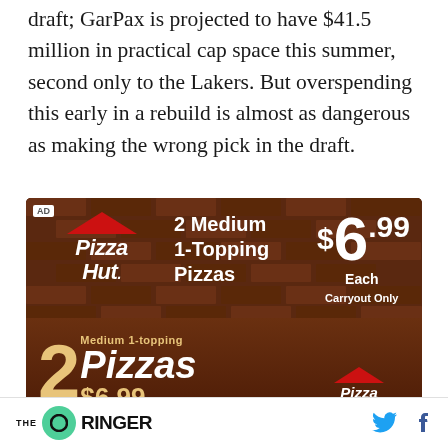draft; GarPax is projected to have $41.5 million in practical cap space this summer, second only to the Lakers. But overspending this early in a rebuild is almost as dangerous as making the wrong pick in the draft.
[Figure (photo): Pizza Hut advertisement showing 2 Medium 1-Topping Pizzas for $6.99 each, carryout only]
THE RINGER